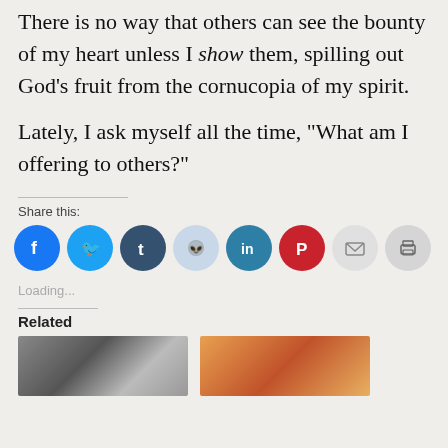There is no way that others can see the bounty of my heart unless I show them, spilling out God's fruit from the cornucopia of my spirit.
Lately, I ask myself all the time, “What am I offering to others?”
Share this:
[Figure (infographic): Social share buttons: Facebook (blue), Twitter (light blue), Tumblr (dark blue), Reddit (light blue-grey), LinkedIn (teal/blue), Pinterest (red), Email (light grey), Print (grey)]
Loading...
Related
[Figure (photo): Black and white thumbnail image, partial view]
[Figure (photo): Color thumbnail image with orange/red tones]